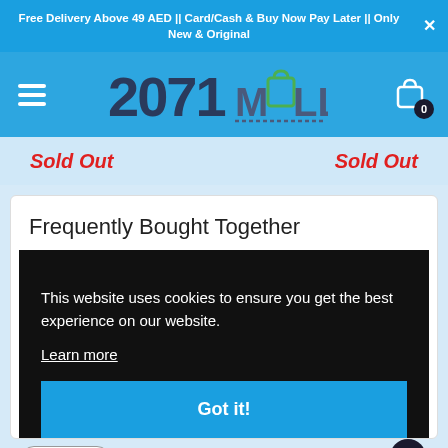Free Delivery Above 49 AED || Card/Cash & Buy Now Pay Later || Only New & Original
[Figure (logo): 2071 MALL logo in dark blue bold stylized text with a green shopping bag icon forming the letter O, on a blue background, with hamburger menu icon on left and shopping cart with badge '0' on right]
Sold Out   Sold Out
Frequently Bought Together
This website uses cookies to ensure you get the best experience on our website.
Learn more
Got it!